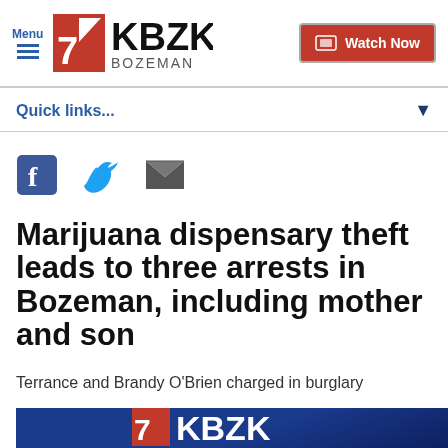KBZK Bozeman - Menu | Watch Now
Quick links...
[Figure (screenshot): Social sharing icons: Facebook, Twitter, Email]
Marijuana dispensary theft leads to three arrests in Bozeman, including mother and son
Terrance and Brandy O'Brien charged in burglary
[Figure (screenshot): KBZK news station logo on dark blue background, partially visible at bottom of page]